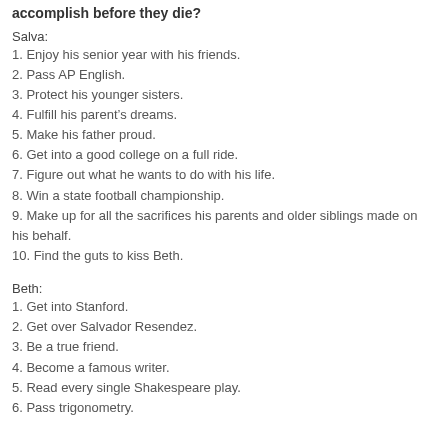accomplish before they die?
Salva:
1. Enjoy his senior year with his friends.
2. Pass AP English.
3. Protect his younger sisters.
4. Fulfill his parent’s dreams.
5. Make his father proud.
6. Get into a good college on a full ride.
7. Figure out what he wants to do with his life.
8. Win a state football championship.
9. Make up for all the sacrifices his parents and older siblings made on his behalf.
10. Find the guts to kiss Beth.
Beth:
1. Get into Stanford.
2. Get over Salvador Resendez.
3. Be a true friend.
4. Become a famous writer.
5. Read every single Shakespeare play.
6. Pass trigonometry.